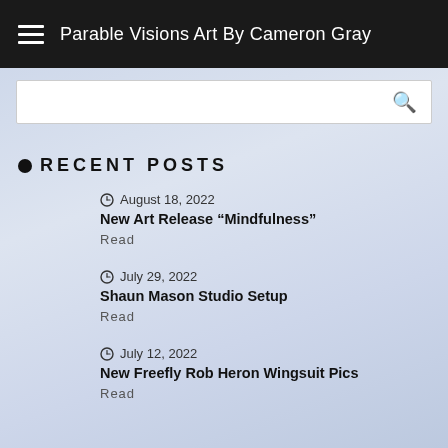Parable Visions Art By Cameron Gray
RECENT POSTS
August 18, 2022
New Art Release “Mindfulness”
Read
July 29, 2022
Shaun Mason Studio Setup
Read
July 12, 2022
New Freefly Rob Heron Wingsuit Pics
Read